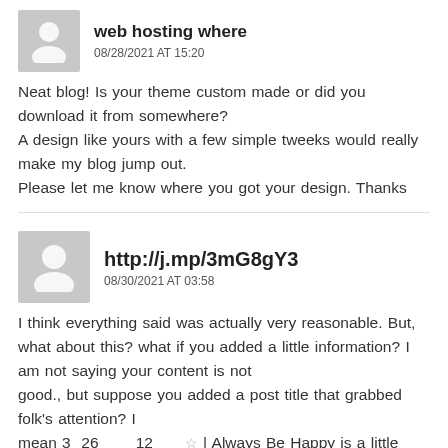[Figure (illustration): Gray avatar placeholder with person silhouette icon]
web hosting where
08/28/2021 AT 15:20
Neat blog! Is your theme custom made or did you download it from somewhere?
A design like yours with a few simple tweeks would really make my blog jump out.
Please let me know where you got your design. Thanks
[Figure (illustration): Gray avatar placeholder with person silhouette icon]
http://j.mp/3mG8gY3
08/30/2021 AT 03:58
I think everything said was actually very reasonable. But, what about this? what if you added a little information? I am not saying your content is not
good., but suppose you added a post title that grabbed folk's attention? I
mean 3  26      12      ☆ | Always Be Happy is a little boring.